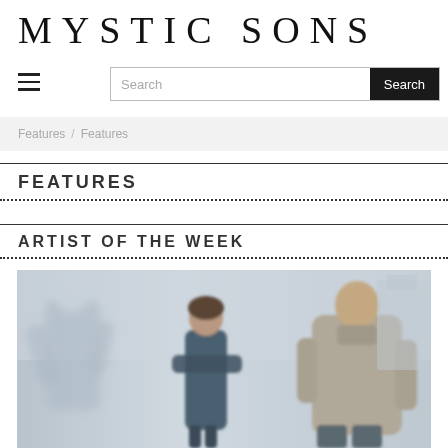MYSTIC SONS
[Figure (other): Hamburger menu icon (three horizontal lines)]
Search
Features / Features
FEATURES
ARTIST OF THE WEEK
[Figure (photo): Outdoor photo of three people standing; one figure blurred in motion on the left, a woman with crossed arms in center, and a man in a grey sweater on the right. Muted blue-grey tones.]